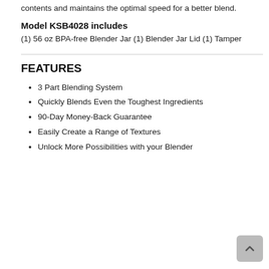contents and maintains the optimal speed for a better blend.
Model KSB4028 includes
(1) 56 oz BPA-free Blender Jar (1) Blender Jar Lid (1) Tamper
FEATURES
3 Part Blending System
Quickly Blends Even the Toughest Ingredients
90-Day Money-Back Guarantee
Easily Create a Range of Textures
Unlock More Possibilities with your Blender